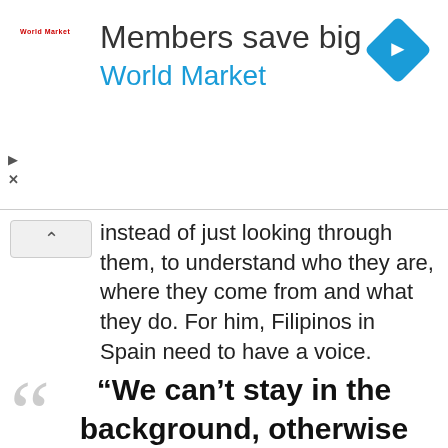[Figure (screenshot): Advertisement banner for World Market with text 'Members save big' and 'World Market' in blue, with a blue diamond navigation icon on the right and a small World Market logo on the left.]
instead of just looking through them, to understand who they are, where they come from and what they do. For him, Filipinos in Spain need to have a voice.
“We can’t stay in the background, otherwise we’re going to stay marginalized. It is time for us to be in the picture too. We must not forget where we come from. We cannot run